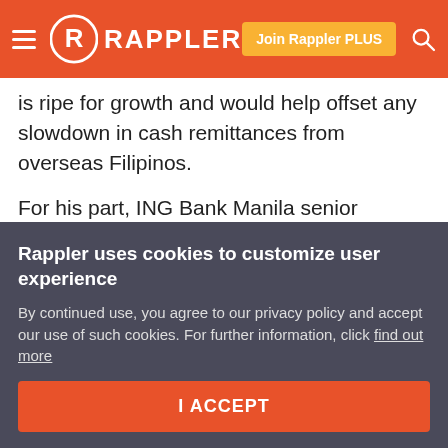Rappler — navigation header with hamburger menu, logo, Join Rappler PLUS button, and search icon
is ripe for growth and would help offset any slowdown in cash remittances from overseas Filipinos.
For his part, ING Bank Manila senior economist Joey Cuyegkeng sees cash remittances contracting by 5% this year but would be eased by the projected mid-teens growth in BPO revenues.
“We cannot sweep aside the possibility of a contraction in OFW remittances. A 5%-contraction in OFW remittances and a 16% growth in outsourcing revenues would still bring
Rappler uses cookies to customize user experience
By continued use, you agree to our privacy policy and accept our use of such cookies. For further information, click find out more
I ACCEPT